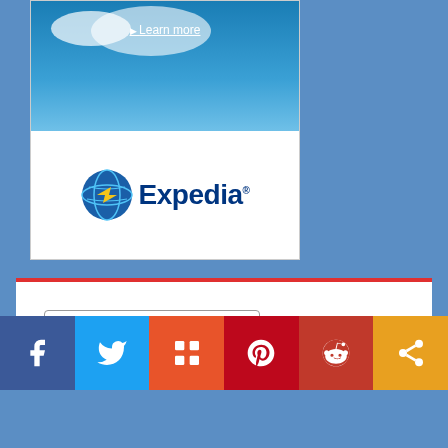[Figure (logo): Expedia advertisement card with sky background, Learn more link, and Expedia logo (globe icon + Expedia text)]
Follow me on bloglovin'
Travel Blog Traffic Exchange
[Figure (illustration): Travel Blog banner with orange and purple background showing TRAVEL BLOG text]
[Figure (infographic): Social sharing bar with Facebook, Twitter, Mix, Pinterest, Reddit, and Share buttons]